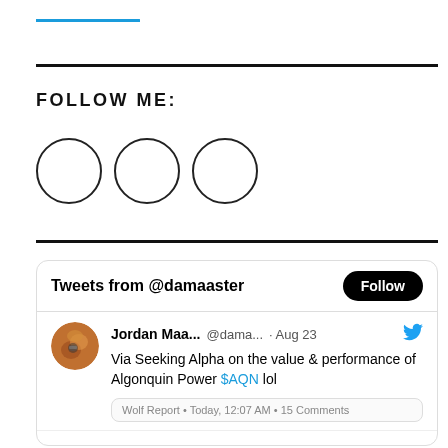FOLLOW ME:
[Figure (illustration): Three empty circles side by side representing social media follow icons]
[Figure (screenshot): Twitter widget showing Tweets from @damaaster with a Follow button, a tweet by Jordan Maa... @dama... on Aug 23 saying: Via Seeking Alpha on the value & performance of Algonquin Power $AQN lol, with a quoted Wolf Report card below showing Today, 12:07 AM · 15 Comments]